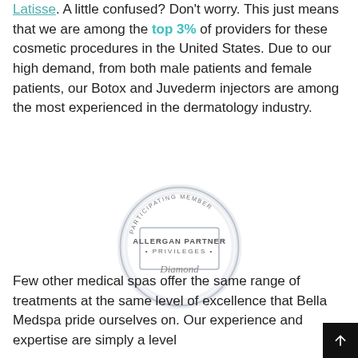Latisse. A little confused? Don't worry. This just means that we are among the top 3% of providers for these cosmetic procedures in the United States. Due to our high demand, from both male patients and female patients, our Botox and Juvederm injectors are among the most experienced in the dermatology industry.
[Figure (logo): Allergan Partner Privileges Diamond badge — a circular silver medallion with 'PARTICIPATING MEMBER' around the top arc, 'ALLERGAN PARTNER PRIVILEGES' in the center band, and 'Diamond' in script at the bottom]
Few other medical spas offer the same range of treatments at the same level of excellence that Bella Medspa pride ourselves on. Our experience and expertise are simply a level